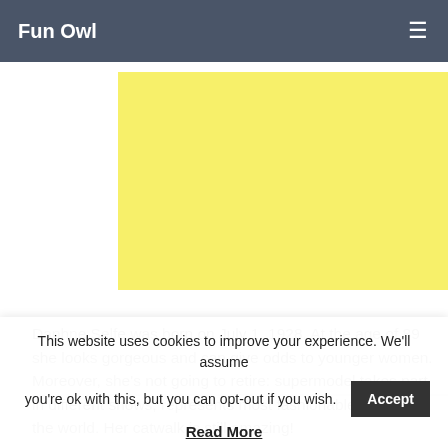Fun Owl
[Figure (other): Yellow advertisement/banner block]
Daphne Selfe was born on July 1, 1928. At the age of 89 she looks gorgeous and can give odds to younger women. Moreover, she's not going to retire: supermodel takes part in different shows, represents most fashionable brands in the world. Her catwalk is still amazing!
This website uses cookies to improve your experience. We'll assume you're ok with this, but you can opt-out if you wish.
Read More